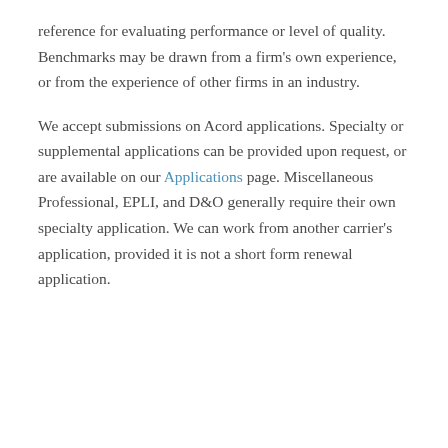reference for evaluating performance or level of quality. Benchmarks may be drawn from a firm's own experience, or from the experience of other firms in an industry.
We accept submissions on Acord applications. Specialty or supplemental applications can be provided upon request, or are available on our Applications page. Miscellaneous Professional, EPLI, and D&O generally require their own specialty application. We can work from another carrier's application, provided it is not a short form renewal application.